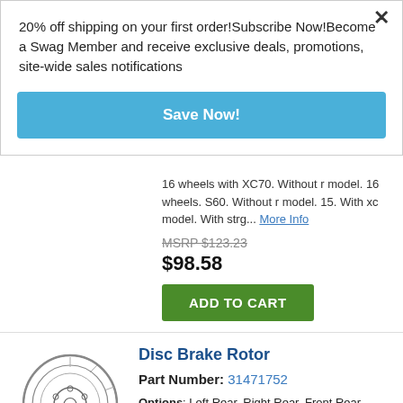20% off shipping on your first order!Subscribe Now!Become a Swag Member and receive exclusive deals, promotions, site-wide sales notifications
Save Now!
16 wheels with XC70. Without r model. 16 wheels. S60. Without r model. 15. With xc model. With strg... More Info
MSRP $123.23
$98.58
ADD TO CART
[Figure (illustration): Disc brake rotor technical illustration showing a round disc with hub holes and a bolt]
Disc Brake Rotor
Part Number: 31471752
Options: Left Rear, Right Rear, Front Rear
Other Names: Disc Brake Rotor
Replaces: 31400568